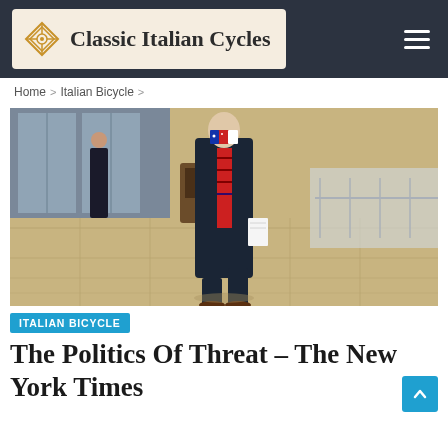Classic Italian Cycles
Home > Italian Bicycle >
[Figure (photo): A man in a dark suit, red striped tie, and American flag face mask walking through what appears to be a government building lobby with polished tile floors, holding papers in one hand.]
ITALIAN BICYCLE
The Politics Of Threat – The New York Times